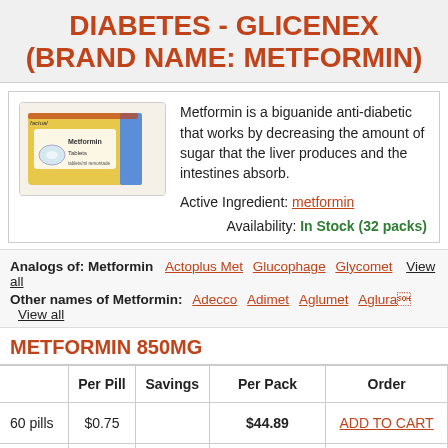DIABETES - GLICENEX (BRAND NAME: METFORMIN)
Metformin is a biguanide anti-diabetic that works by decreasing the amount of sugar that the liver produces and the intestines absorb.
Active Ingredient: metformin
Availability: In Stock (32 packs)
Analogs of: Metformin   Actoplus Met  Glucophage  Glycomet   View all
Other names of Metformin:  Adecco  Adimet  Aglumet  Aglura   View all
METFORMIN 850MG
|  | Per Pill | Savings | Per Pack | Order |
| --- | --- | --- | --- | --- |
| 60 pills | $0.75 |  | $44.89 | ADD TO CART |
| 90 pills | $0.66 | $7.54 | $67.22 $59.70 | ADD TO CART |